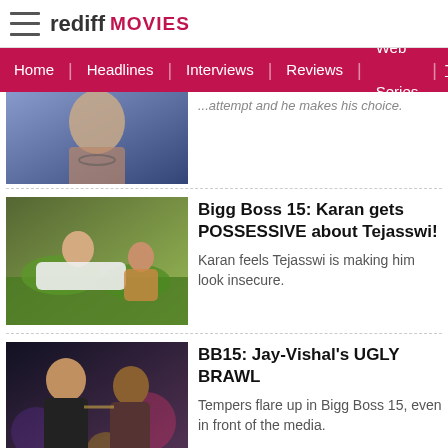rediff MOVIES
Home | Headlines | Interviews | Reviews | Web Series | Tele
[Figure (photo): Partial image of a man in stylized outfit against blue background, top portion cut off]
...attempt and he makes his choice.
[Figure (photo): A man in white outfit reclining on grass with a woman beside him — Bigg Boss 15 scene]
Bigg Boss 15: Karan gets POSSESSIVE about Tejasswi!
Karan feels Tejasswi is making him look insecure.
[Figure (photo): Two men in a confrontation scene — Bigg Boss 15 Jay and Vishal brawl]
BB15: Jay-Vishal's UGLY BRAWL
Tempers flare up in Bigg Boss 15, even in front of the media.